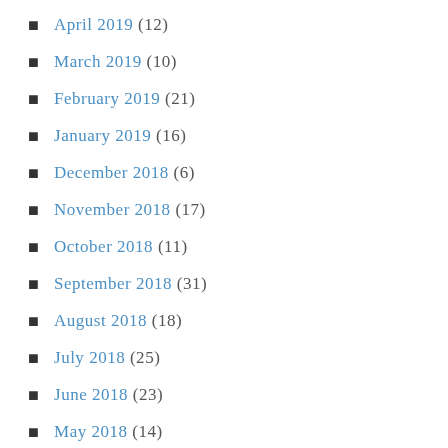April 2019 (12)
March 2019 (10)
February 2019 (21)
January 2019 (16)
December 2018 (6)
November 2018 (17)
October 2018 (11)
September 2018 (31)
August 2018 (18)
July 2018 (25)
June 2018 (23)
May 2018 (14)
April 2018 (1)
February 2018 (1)
December 2017 (7)
November 2017 (1)
October 2017 (3)
June 2017 (1)
May 2017 (23)
April 2017 (18)
March 2017 (11)
February 2017 (11)
January 2017 (9)
December 2016 (15)
November 2016 (20)